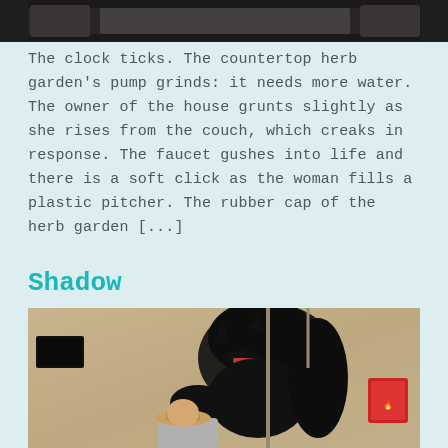[Figure (photo): Top portion of a photograph, dark/blurred, appears to be a street or vehicle scene]
The clock ticks. The countertop herb garden's pump grinds: it needs more water. The owner of the house grunts slightly as she rises from the couch, which creaks in response. The faucet gushes into life and there is a soft click as the woman fills a plastic pitcher. The rubber cap of the herb garden [...]
Shadow
[Figure (photo): A large black dragon/monster mural painted on a concrete wall (street art), with a person wearing a hat and hoodie walking below it. A fire extinguisher sign is visible on the right side of the wall.]